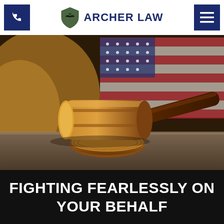Archer Law
[Figure (photo): A wooden judge's gavel resting on its sound block on a wooden surface, with a blurred American flag in the background. Warm golden light illuminates the left side of the image.]
FIGHTING FEARLESSLY ON YOUR BEHALF